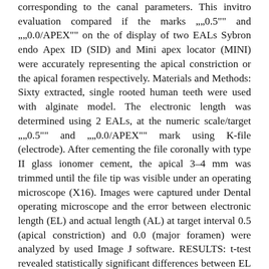corresponding to the canal parameters. This invitro evaluation compared if the marks „„0.5"" and „„0.0/APEX"" on the of display of two EALs Sybron endo Apex ID (SID) and Mini apex locator (MINI) were accurately representing the apical constriction or the apical foramen respectively. Materials and Methods: Sixty extracted, single rooted human teeth were used with alginate model. The electronic length was determined using 2 EALs, at the numeric scale/target „„0.5"" and „„0.0/APEX"" mark using K-file (electrode). After cementing the file coronally with type II glass ionomer cement, the apical 3–4 mm was trimmed until the file tip was visible under an operating microscope (X16). Images were captured under Dental operating microscope and the error between electronic length (EL) and actual length (AL) at target interval 0.5 (apical constriction) and 0.0 (major foramen) were analyzed by used Image J software. RESULTS: t-test revealed statistically significant differences between EL determination